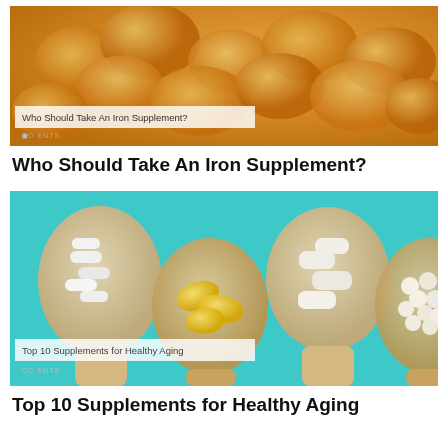[Figure (photo): Photo of dried apricots/fruits in a bowl with a semi-transparent overlay label reading 'Who Should Take An Iron Supplement?' and a small watermark at bottom left.]
Who Should Take An Iron Supplement?
[Figure (photo): Photo of four wooden spoons on a teal/cyan background, each containing different types of supplements: white capsules, golden gel capsules, large white tablets, and small round white tablets. Overlay label reads 'Top 10 Supplements for Healthy Aging' with a small watermark at bottom left.]
Top 10 Supplements for Healthy Aging